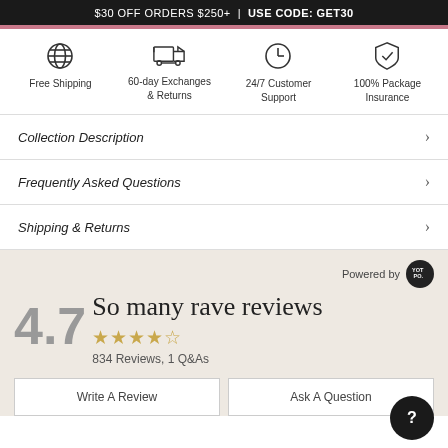$30 OFF ORDERS $250+ | USE CODE: GET30
[Figure (infographic): Four feature icons: globe (Free Shipping), truck (60-day Exchanges & Returns), clock (24/7 Customer Support), shield (100% Package Insurance)]
Collection Description
Frequently Asked Questions
Shipping & Returns
Powered by Yotpo
So many rave reviews
4.7 ★★★★☆ 834 Reviews, 1 Q&As
Write A Review
Ask A Question